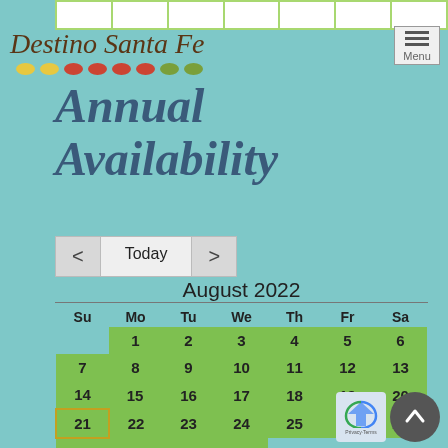[Figure (screenshot): Top navigation strip with white cells on green background]
Destino Santa Fe
[Figure (illustration): Decorative dots row under logo: yellow, red, green ovals]
[Figure (illustration): Hamburger menu icon with Menu label, top right]
Annual Availability
[Figure (screenshot): Navigation bar with back arrow, Today button, forward arrow]
August 2022
| Su | Mo | Tu | We | Th | Fr | Sa |
| --- | --- | --- | --- | --- | --- | --- |
|  | 1 | 2 | 3 | 4 | 5 | 6 |
| 7 | 8 | 9 | 10 | 11 | 12 | 13 |
| 14 | 15 | 16 | 17 | 18 | 19 | 20 |
| 21 | 22 | 23 | 24 | 25 | 26 | 27 |
| 28 | 29 | 30 | 31 |  |  |  |